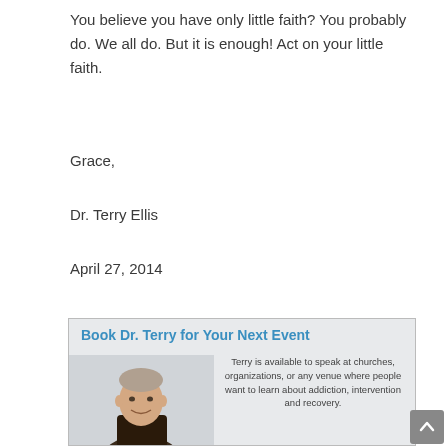You believe you have only little faith? You probably do. We all do. But it is enough! Act on your little faith.
Grace,
Dr. Terry Ellis
April 27, 2014
[Figure (infographic): Advertisement box with light grey background. Title reads 'Book Dr. Terry for Your Next Event' in bold blue text. Below is a photo of an older man (Dr. Terry) in a dark vest over a plaid shirt, smiling. To the right of the photo is text: 'Terry is available to speak at churches, organizations, or any venue where people want to learn about addiction, intervention and recovery.']